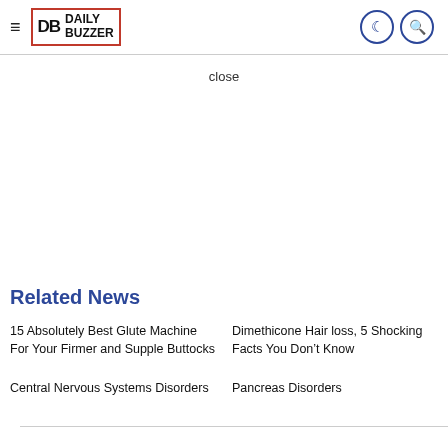DB DAILY BUZZER
close
Related News
15 Absolutely Best Glute Machine For Your Firmer and Supple Buttocks
Dimethicone Hair loss, 5 Shocking Facts You Don't Know
Central Nervous Systems Disorders
Pancreas Disorders